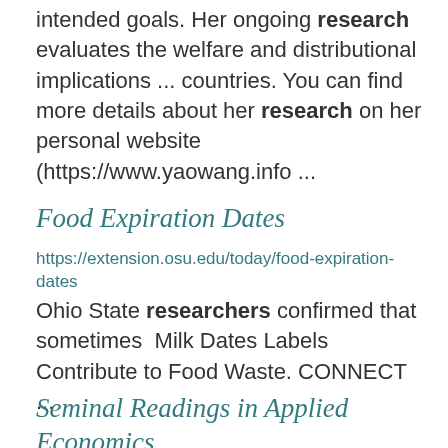intended goals. Her ongoing research evaluates the welfare and distributional implications ... countries. You can find more details about her research on her personal website (https://www.yaowang.info ...
Food Expiration Dates
https://extension.osu.edu/today/food-expiration-dates
Ohio State researchers confirmed that sometimes Milk Dates Labels Contribute to Food Waste. CONNECT ...
Seminal Readings in Applied Economics